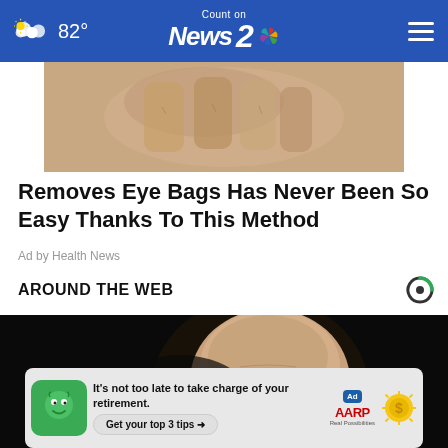82° Count on News 2 NBC
[Figure (photo): Close-up photo of fingertips/hand skin texture, beige/skin tone]
Removes Eye Bags Has Never Been So Easy Thanks To This Method
Ad by Health News
AROUND THE WEB
[Figure (logo): Taboola logo - circular C shape in dark/green]
[Figure (photo): Close-up photo of a bald man's head against dark background]
[Figure (infographic): AARP advertisement banner: It's not too late to take charge of your retirement. Get your top 3 tips. Ad Council and AARP logos shown.]